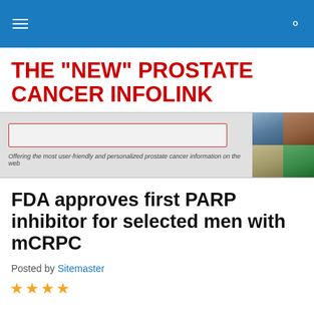THE "NEW" PROSTATE CANCER INFOLINK (navigation header)
THE "NEW" PROSTATE CANCER INFOLINK
[Figure (screenshot): Website banner with search box and tagline 'Offering the most user-friendly and personalized prostate cancer information on the web', with medical/microscopy images on the right]
FDA approves first PARP inhibitor for selected men with mCRPC
Posted by Sitemaster